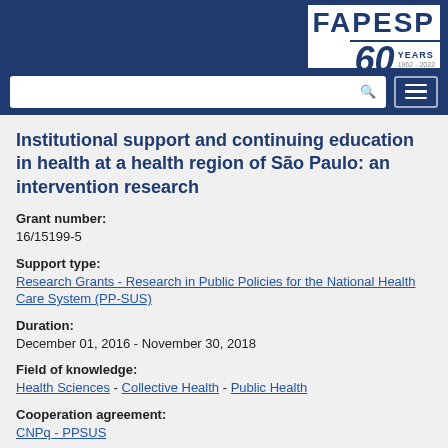[Figure (logo): FAPESP 60 Years 1962-2022 logo in dark blue on white background]
Institutional support and continuing education in health at a health region of São Paulo: an intervention research
Grant number:
16/15199-5
Support type:
Research Grants - Research in Public Policies for the National Health Care System (PP-SUS)
Duration:
December 01, 2016 - November 30, 2018
Field of knowledge:
Health Sciences - Collective Health - Public Health
Cooperation agreement:
CNPq - PPSUS